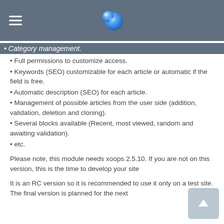Category management.
Full permissions to customize access.
Keywords (SEO) customizable for each article or automatic if the field is free.
Automatic description (SEO) for each article.
Management of possible articles from the user side (addition, validation, deletion and cloning).
Several blocks available (Recent, most viewed, random and awaiting validation).
etc.
Please note, this module needs xoops 2.5.10. If you are not on this version, this is the time to develop your site
It is an RC version so it is recommended to use it only on a test site. The final version is planned for the next